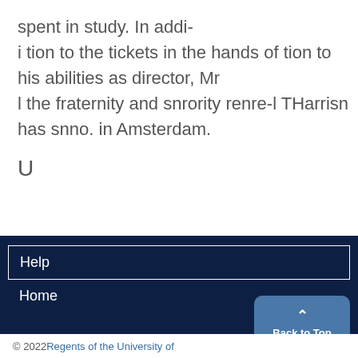spent in study. In addi-
i tion to the tickets in the hands of tion to
his abilities as director, Mr
l the fraternity and snrority renre-l THarrisn
has snno. in Amsterdam.
U
Help
Home
© 2022 Regents of the University of
Back to Top